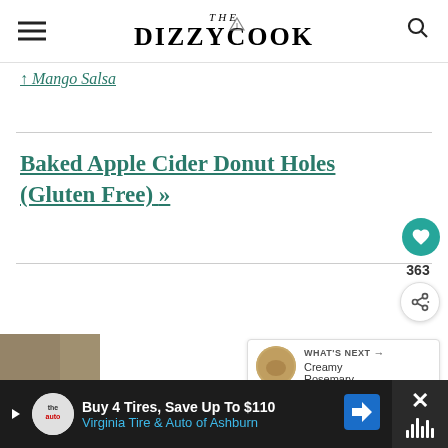THE DIZZY COOK
↑ Mango Salsa
Baked Apple Cider Donut Holes (Gluten Free) »
363
WHAT'S NEXT → Creamy Rosemary...
[Figure (photo): Small thumbnail photo at bottom left]
Buy 4 Tires, Save Up To $110 Virginia Tire & Auto of Ashburn